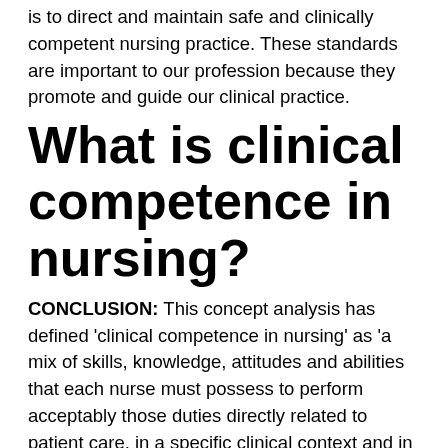The main purpose of professional standards is to direct and maintain safe and clinically competent nursing practice. These standards are important to our profession because they promote and guide our clinical practice.
What is clinical competence in nursing?
CONCLUSION: This concept analysis has defined ‘clinical competence in nursing’ as ‘a mix of skills, knowledge, attitudes and abilities that each nurse must possess to perform acceptably those duties directly related to patient care, in a specific clinical context and in given circumstances in order to promote, maintain,